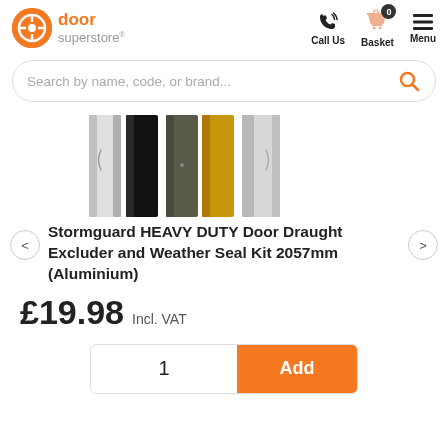[Figure (logo): Door Superstore logo with orange circle icon and orange/grey text]
[Figure (infographic): Navigation icons: phone (Call Us), basket with 0 badge (Basket), hamburger menu (Menu)]
[Figure (screenshot): Search bar with placeholder text and orange search icon]
[Figure (photo): Product image showing vertical strips of door draught excluder in silver/black, dark grey, gold/yellow, and silver/grey finishes]
Stormguard HEAVY DUTY Door Draught Excluder and Weather Seal Kit 2057mm (Aluminium)
£19.98 Incl. VAT
1  Add